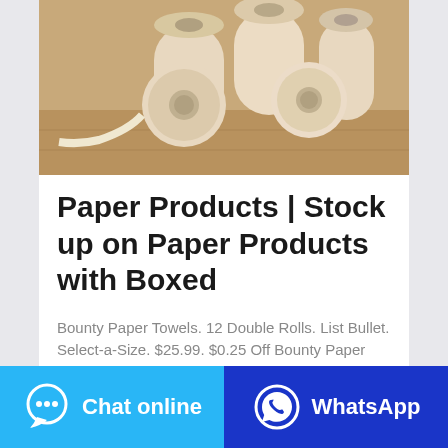[Figure (photo): Photo of toilet paper rolls and paper towel rolls arranged on a wooden surface]
Paper Products | Stock up on Paper Products with Boxed
Bounty Paper Towels. 12 Double Rolls. List Bullet. Select-a-Size. $25.99. $0.25 Off Bounty Paper Towel $0.05/sq ft. OUT OF STOCK. Add to Favorites. 11.4k.